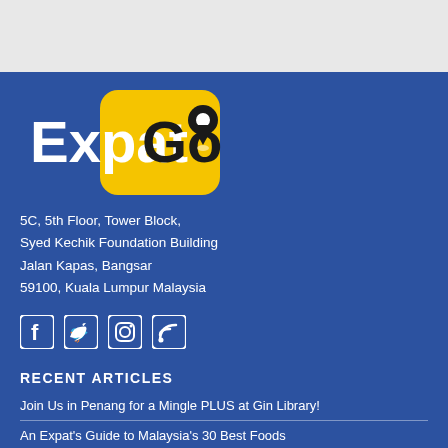[Figure (logo): ExpatGo logo — white bold text 'Expat' and black bold text 'Go' on a yellow rounded rectangle with a map pin icon]
5C, 5th Floor, Tower Block,
Syed Kechik Foundation Building
Jalan Kapas, Bangsar
59100, Kuala Lumpur Malaysia
[Figure (other): Social media icons: Facebook, Twitter, Instagram, RSS feed — white outlined icons on blue background]
RECENT ARTICLES
Join Us in Penang for a Mingle PLUS at Gin Library!
An Expat's Guide to Malaysia's 30 Best Foods